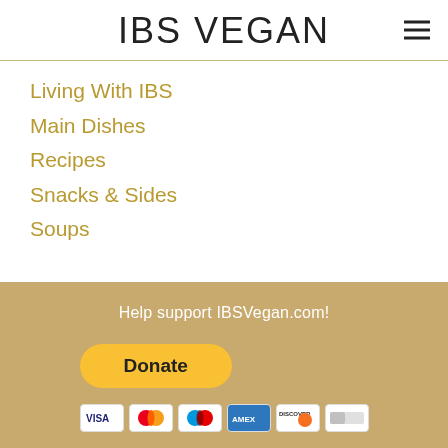IBS VEGAN
Living With IBS
Main Dishes
Recipes
Snacks & Sides
Soups
RSS Feed
Help support IBSVegan.com!
[Figure (other): PayPal Donate button with payment card icons (Visa, Mastercard, Maestro, American Express, Discover, and another card)]